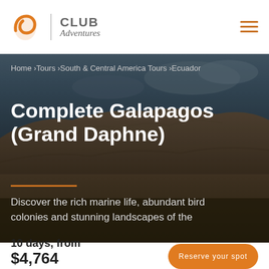[Figure (logo): Club Adventures logo with orange cursive 'a' icon, vertical divider, and text 'CLUB Adventures']
CLUB Adventures
[Figure (photo): Hero photo of dark volcanic rocky landscape with cloudy sky in background – Galapagos scenery]
Home › Tours › South & Central America Tours › Ecuador
Complete Galapagos (Grand Daphne)
Discover the rich marine life, abundant bird colonies and stunning landscapes of the
10 days, from $4,764
to book call 1-844-205-6226